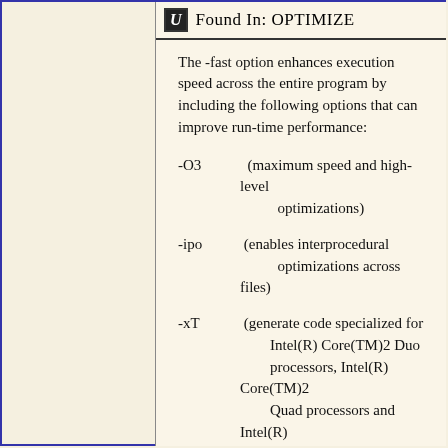Found In: OPTIMIZE
The -fast option enhances execution speed across the entire program by including the following options that can improve run-time performance:
-O3   (maximum speed and high-level optimizations)
-ipo (enables interprocedural optimizations across files)
-xT  (generate code specialized for Intel(R) Core(TM)2 Duo processors, Intel(R) Core(TM)2 Quad processors and Intel(R) Xeon(R) processors with SSSE3)
-static  Statically link in libraries at link time
-no-prec-div (disable -prec-div) where -prec-div improves precision of FP